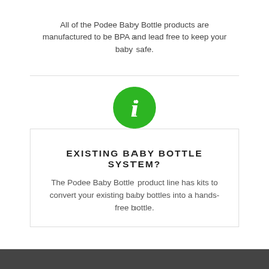All of the Podee Baby Bottle products are manufactured to be BPA and lead free to keep your baby safe.
[Figure (illustration): Green circle with white lowercase italic 'i' info icon]
EXISTING BABY BOTTLE SYSTEM?
The Podee Baby Bottle product line has kits to convert your existing baby bottles into a hands-free bottle.
WHAT PEOPLE ARE SAYING
"I LOOOOOOOOOVE my Podee®! I just got it yesterday and it's already my favorite baby accessory!! We're out and about quite a